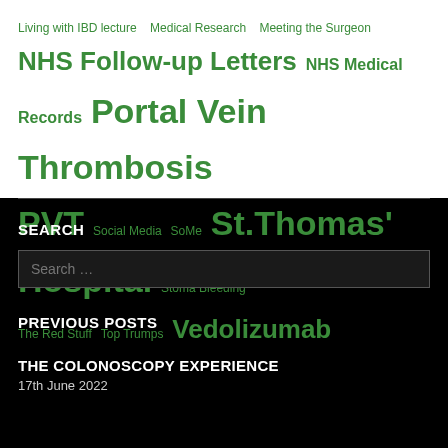Living with IBD lecture  Medical Research  Meeting the Surgeon  NHS Follow-up Letters  NHS Medical Records  Portal Vein Thrombosis  PVT  Social Media  SoMe  St.Thomas' Hospital  Stoma Bleeding  The Red Stuff  Top Trumps  Vedolizumab
SEARCH
Search …
PREVIOUS POSTS
THE COLONOSCOPY EXPERIENCE
17th June 2022